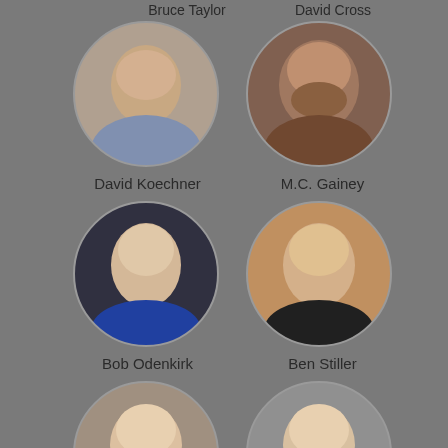Bruce Taylor
David Cross
[Figure (photo): Circular portrait photo of David Koechner]
David Koechner
[Figure (photo): Circular portrait photo of M.C. Gainey]
M.C. Gainey
[Figure (photo): Circular portrait photo of Bob Odenkirk]
Bob Odenkirk
[Figure (photo): Circular portrait photo of Ben Stiller]
Ben Stiller
[Figure (photo): Circular portrait photo of person in bottom left (partially visible)]
[Figure (photo): Circular portrait photo of person in bottom right (partially visible)]